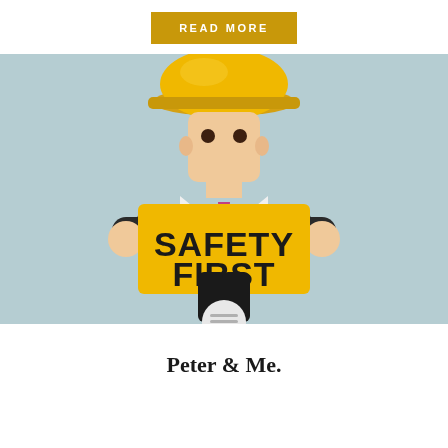READ MORE
[Figure (illustration): Cartoon construction worker wearing a yellow hard hat, holding a yellow sign that reads SAFETY FIRST in bold black text, with a circular avatar icon at the bottom center]
Peter & Me.